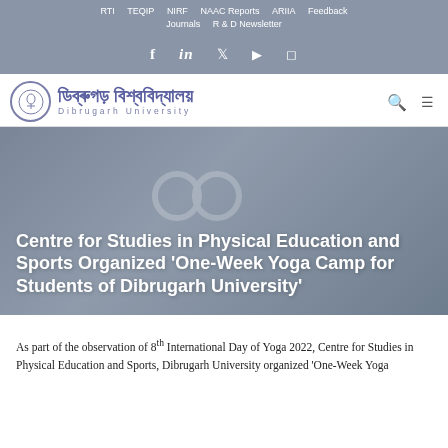RTI  TEQIP  NIRF  NAAC Reports  ARIIA  Feedback  Journals  R & D Newsletter
[Figure (logo): Dibrugarh University logo with Bengali script text and English text below]
Centre for Studies in Physical Education and Sports Organized 'One-Week Yoga Camp for Students of Dibrugarh University'
As part of the observation of 8th International Day of Yoga 2022, Centre for Studies in Physical Education and Sports, Dibrugarh University organized 'One-Week Yoga